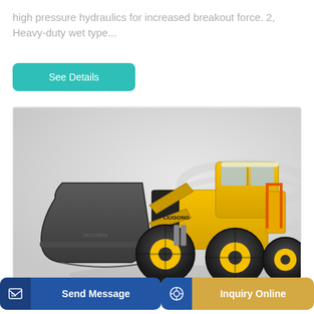high pressure hydraulics for increased breakout force. 2, Heavy-duty wet type...
[Figure (illustration): Yellow wheel loader / front-end loader construction machine with large black bucket attachment, shown on a light grey background.]
See Details
Send Message
Inquiry Online